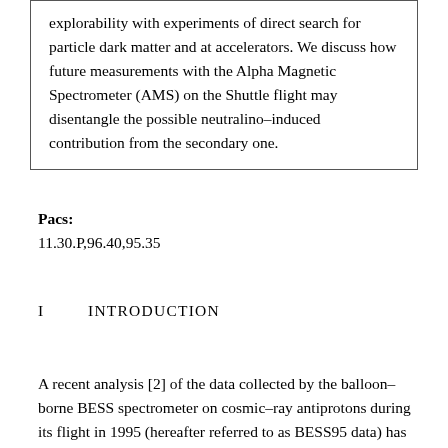explorability with experiments of direct search for particle dark matter and at accelerators. We discuss how future measurements with the Alpha Magnetic Spectrometer (AMS) on the Shuttle flight may disentangle the possible neutralino–induced contribution from the secondary one.
Pacs:
11.30.P,96.40,95.35
I        INTRODUCTION
A recent analysis [2] of the data collected by the balloon–borne BESS spectrometer on cosmic–ray antiprotons during its flight in 1995 (hereafter referred to as BESS95 data) has